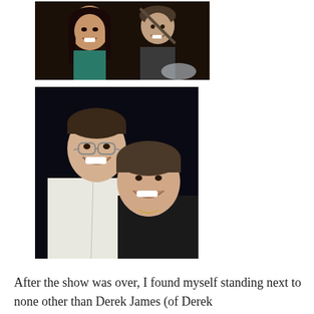[Figure (photo): Two people smiling together, a young woman with long dark hair and a man in a dark shirt, indoor setting]
[Figure (photo): A man wearing glasses in a white shirt and a woman with short hair, both smiling and laughing, outdoor nighttime setting]
After the show was over, I found myself standing next to none other than Derek James (of Derek